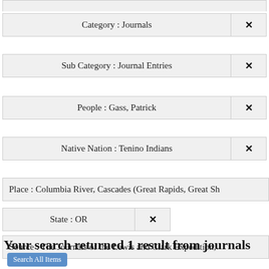Category : Journals ×
Sub Category : Journal Entries ×
People : Gass, Patrick ×
Native Nation : Tenino Indians ×
Place : Columbia River, Cascades (Great Rapids, Great Sh…
State : OR ×
Source : The Journals of the Lewis and Clark Expedition,…
Your search returned 1 result from journals
Search All Items